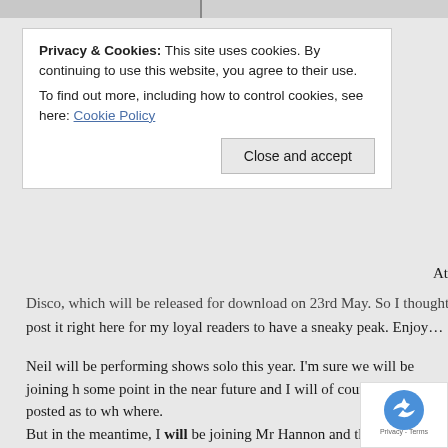[Figure (photo): Partial grayscale photo visible at top of page]
Privacy & Cookies: This site uses cookies. By continuing to use this website, you agree to their use.
To find out more, including how to control cookies, see here: Cookie Policy
Close and accept
At
Disco, which will be released for download on 23rd May. So I thought I'd post it right here for my loyal readers to have a sneaky peak. Enjoy…
Neil will be performing shows solo this year. I'm sure we will be joining h some point in the near future and I will of course keep you posted as to wh where.
But in the meantime, I will be joining Mr Hannon and the lovely Mr Walsh recently Ivor Novello nominated Duckworth Lewis Method at a one-off pe headlining at the Meltdwon Festival at London's Sounthbank Centre on Ju This promises to be a very special show and I'm expecting that tickets will pretty quick so if I were you I'd get booked up right now to avoid crashing disappointment…
This post is becoming a bit of a monster. Serves me right for leaving it so l what else? The sitar is going very well indeed, thanks for asking. I will intending on blogging more about this fun and exciting little jo and wonderful world of Hindustani classical music, but I fear too long. Next time I reckon. Until then, thanks for reading and to leave
[Figure (logo): reCAPTCHA badge with Privacy - Terms text]